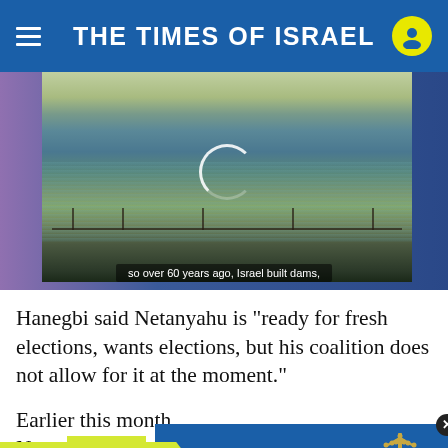THE TIMES OF ISRAEL
[Figure (screenshot): Video still of people near a body of water or pond, with a circular play button overlay. Bottom caption reads: 'so over 60 years ago, Israel built dams.']
Hanegbi said Netanyahu is "ready for fresh elections, wants elections, but his coalition does not allow for it at the moment."
Earlier this month Netан… bicker…
[Figure (screenshot): Advertisement overlay: yellow arrow banner 'JOIN OUR COMMUNITY' and blue panel 'Support ToI and remove ads', with menorah logo and a close button.]